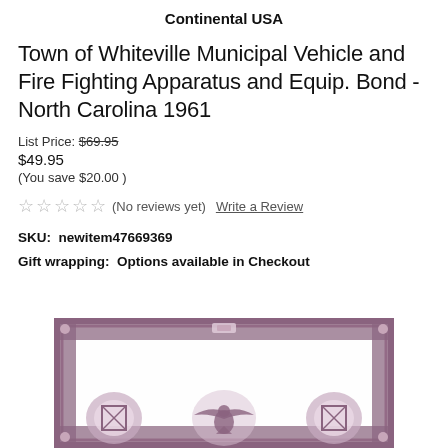Continental USA
Town of Whiteville Municipal Vehicle and Fire Fighting Apparatus and Equip. Bond - North Carolina 1961
List Price: $69.95
$49.95
(You save $20.00 )
★★★★★ (No reviews yet)  Write a Review
SKU:  newitem47669369
Gift wrapping:  Options available in Checkout
[Figure (photo): Blurred image of a decorative bond certificate with ornate purple border, circular medallions, and an eagle emblem in the center]